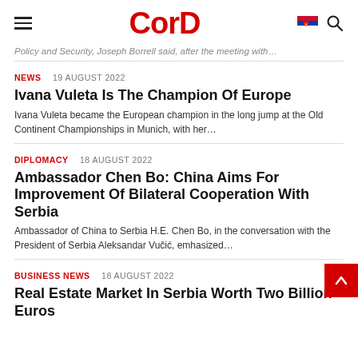CorD
Policy and Security, Joseph Borrell said, after the meeting with...
NEWS  19 AUGUST 2022
Ivana Vuleta Is The Champion Of Europe
Ivana Vuleta became the European champion in the long jump at the Old Continent Championships in Munich, with her...
DIPLOMACY  18 AUGUST 2022
Ambassador Chen Bo: China Aims For Improvement Of Bilateral Cooperation With Serbia
Ambassador of China to Serbia H.E. Chen Bo, in the conversation with the President of Serbia Aleksandar Vučić, emhasized...
BUSINESS NEWS  18 AUGUST 2022
Real Estate Market In Serbia Worth Two Billion Euros